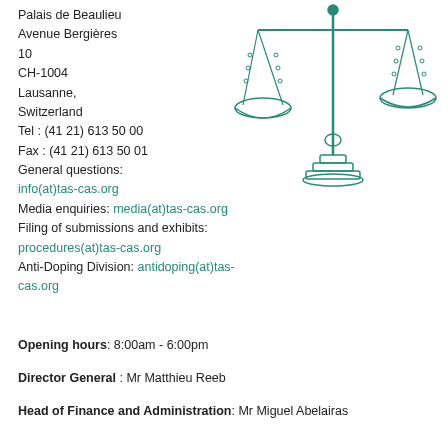Palais de Beaulieu
Avenue Bergières
10
CH-1004
Lausanne,
Switzerland
Tel : (41 21) 613 50 00
Fax : (41 21) 613 50 01
General questions:
info(at)tas-cas.org
Media enquiries: media(at)tas-cas.org
Filing of submissions and exhibits: procedures(at)tas-cas.org
Anti-Doping Division: antidoping(at)tas-cas.org
[Figure (illustration): Scales of justice illustration in teal/green outline style]
Opening hours: 8:00am - 6:00pm
Director General : Mr Matthieu Reeb
Head of Finance and Administration: Mr Miguel Abelairas